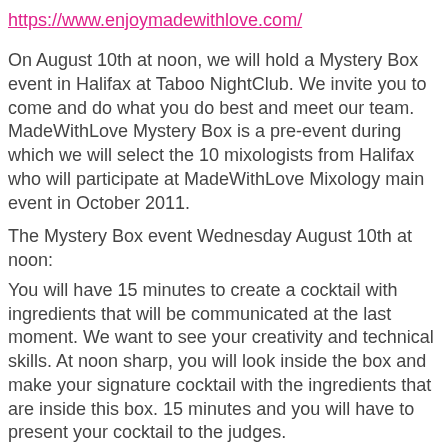https://www.enjoymadewithlove.com/
On August 10th at noon, we will hold a Mystery Box event in Halifax at Taboo NightClub. We invite you to come and do what you do best and meet our team. MadeWithLove Mystery Box is a pre-event during which we will select the 10 mixologists from Halifax who will participate at MadeWithLove Mixology main event in October 2011.
The Mystery Box event Wednesday August 10th at noon:
You will have 15 minutes to create a cocktail with ingredients that will be communicated at the last moment. We want to see your creativity and technical skills. At noon sharp, you will look inside the box and make your signature cocktail with the ingredients that are inside this box. 15 minutes and you will have to present your cocktail to the judges.